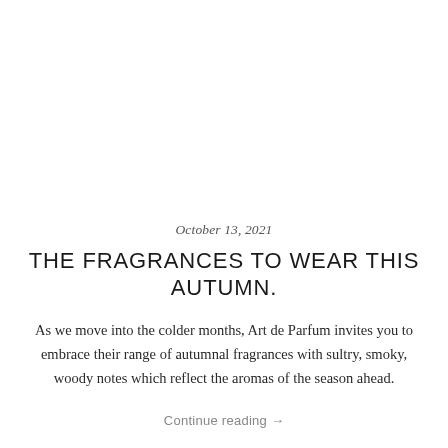October 13, 2021
THE FRAGRANCES TO WEAR THIS AUTUMN.
As we move into the colder months, Art de Parfum invites you to embrace their range of autumnal fragrances with sultry, smoky, woody notes which reflect the aromas of the season ahead.
Continue reading →